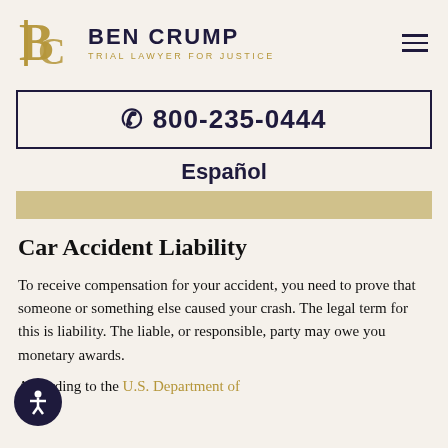[Figure (logo): Ben Crump Trial Lawyer for Justice logo with stylized BC monogram in gold and firm name in dark navy]
☎ 800-235-0444
Español
Car Accident Liability
To receive compensation for your accident, you need to prove that someone or something else caused your crash. The legal term for this is liability. The liable, or responsible, party may owe you monetary awards.
According to the U.S. Department of